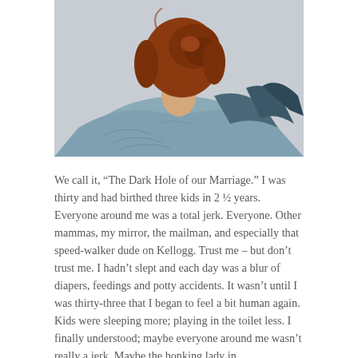[Figure (photo): A woman seen from behind with auburn/red hair in a bun, wearing a blue-grey linen or fabric top, against a light grey background.]
We call it, “The Dark Hole of our Marriage.” I was thirty and had birthed three kids in 2 ½ years. Everyone around me was a total jerk. Everyone. Other mammas, my mirror, the mailman, and especially that speed-walker dude on Kellogg. Trust me – but don’t trust me. I hadn’t slept and each day was a blur of diapers, feedings and potty accidents. It wasn’t until I was thirty-three that I began to feel a bit human again. Kids were sleeping more; playing in the toilet less. I finally understood; maybe everyone around me wasn’t really a jerk. Maybe the honking lady in